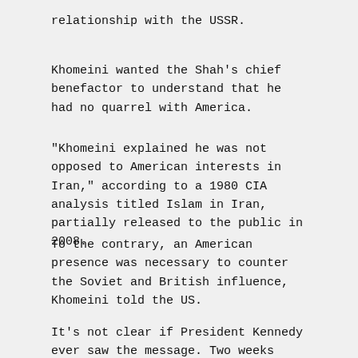relationship with the USSR.
Khomeini wanted the Shah’s chief benefactor to understand that he had no quarrel with America.
“Khomeini explained he was not opposed to American interests in Iran,” according to a 1980 CIA analysis titled Islam in Iran, partially released to the public in 2008.
To the contrary, an American presence was necessary to counter the Soviet and British influence, Khomeini told the US.
It’s not clear if President Kennedy ever saw the message. Two weeks later, he would be assassinated in Texas.